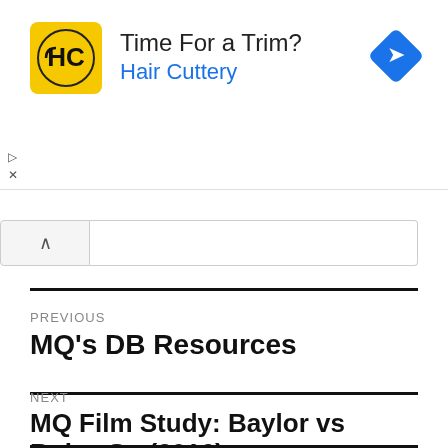[Figure (logo): Hair Cuttery advertisement banner with yellow HC logo, 'Time For a Trim?' tagline, 'Hair Cuttery' brand name in blue, and a blue navigation diamond icon.]
PREVIOUS
MQ's DB Resources
NEXT
MQ Film Study: Baylor vs Boise St. (2016)